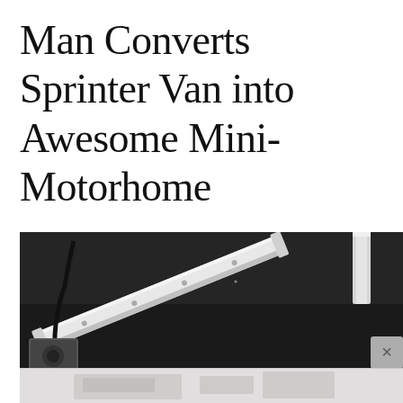Man Converts Sprinter Van into Awesome Mini-Motorhome
[Figure (photo): Interior van conversion photo showing a white aluminum track/rail mounted to the dark ceiling of a Sprinter van, with a second faded/partial image of van exterior visible at the bottom. A small close button (×) appears in the lower right of the photo area.]